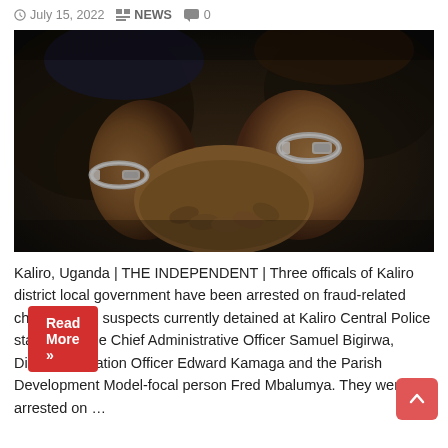July 15, 2022  NEWS  0
[Figure (photo): Two people with hands clasped together in handcuffs, dark background]
Kaliro, Uganda | THE INDEPENDENT | Three officals of Kaliro district local government have been arrested on fraud-related charges. The suspects currently detained at Kaliro Central Police station include Chief Administrative Officer Samuel Bigirwa, District Education Officer Edward Kamaga and the Parish Development Model-focal person Fred Mbalumya. They were arrested on …
Read More »